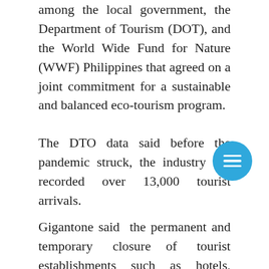among the local government, the Department of Tourism (DOT), and the World Wide Fund for Nature (WWF) Philippines that agreed on a joint commitment for a sustainable and balanced eco-tourism program.
The DTO data said before the pandemic struck, the industry has recorded over 13,000 tourist arrivals.
Gigantone said the permanent and temporary closure of tourist establishments such as hotels, resorts, restaurants resulted in hundreds of millions in revenue losses and hundreds of workers losing their jobs.
Sorsogon Gov. Francis Escudero said the new era of the tourism...